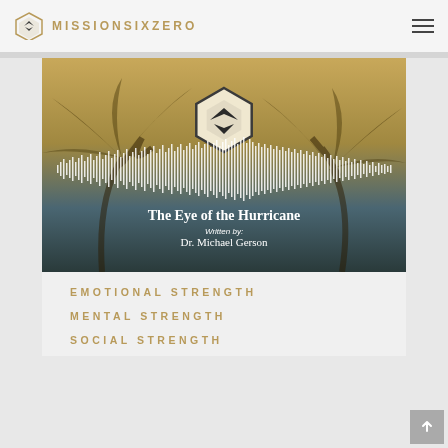MISSIONSIXZERO
[Figure (illustration): MissionSixZero branded image showing palm trees being blown in a storm with a golden/dark teal color overlay. The MissionSixZero hexagonal logo is centered in the upper portion. A waveform/audio bar pattern is shown across the middle. Lower portion shows text: 'The Eye of the Hurricane' / 'Written by:' / 'Dr. Michael Gerson']
EMOTIONAL STRENGTH
MENTAL STRENGTH
SOCIAL STRENGTH